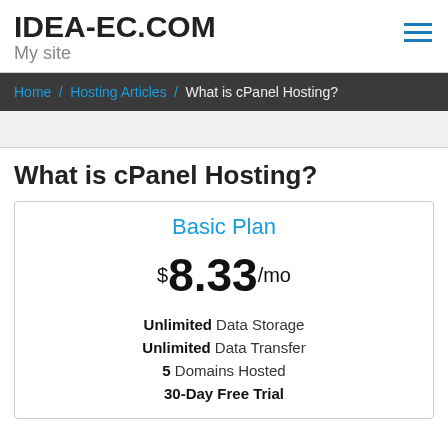IDEA-EC.COM
My site
Home / Hosting Articles / What is cPanel Hosting?
What is cPanel Hosting?
| Basic Plan |
| --- |
| $8.33/mo |
| Unlimited Data Storage |
| Unlimited Data Transfer |
| 5 Domains Hosted |
| 30-Day Free Trial |